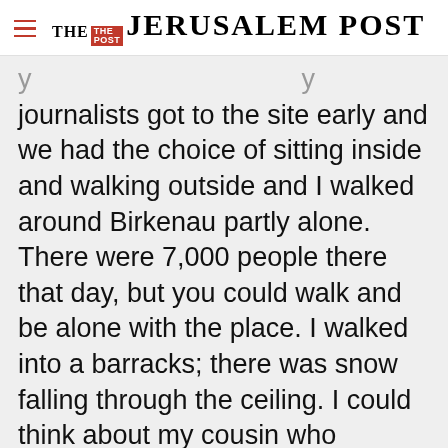THE JERUSALEM POST
journalists got to the site early and we had the choice of sitting inside and walking outside and I walked around Birkenau partly alone. There were 7,000 people there that day, but you could walk and be alone with the place. I walked into a barracks; there was snow falling through the ceiling. I could think about my cousin who survived it. Then I walked outside and saw survivors surrounded by journalists next to the
Advertisement